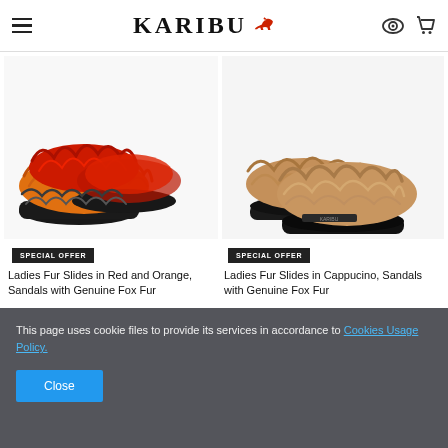KARIBU (website header with hamburger menu, logo, eye icon, cart icon)
[Figure (photo): Ladies Fur Slides in Red and Orange with Fox Fur on white background]
[Figure (photo): Ladies Fur Slides in Cappuccino with Fox Fur on white background]
SPECIAL OFFER
Ladies Fur Slides in Red and Orange, Sandals with Genuine Fox Fur
SPECIAL OFFER
Ladies Fur Slides in Cappucino, Sandals with Genuine Fox Fur
This page uses cookie files to provide its services in accordance to Cookies Usage Policy.
Close